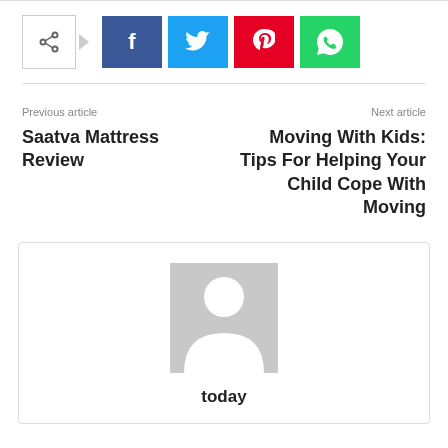[Figure (infographic): Social share bar with share icon button and social media buttons: Facebook (blue), Twitter (cyan), Pinterest (red), WhatsApp (green)]
Previous article
Saatva Mattress Review
Next article
Moving With Kids: Tips For Helping Your Child Cope With Moving
[Figure (illustration): Generic user avatar placeholder — grey square with white silhouette of a person]
today